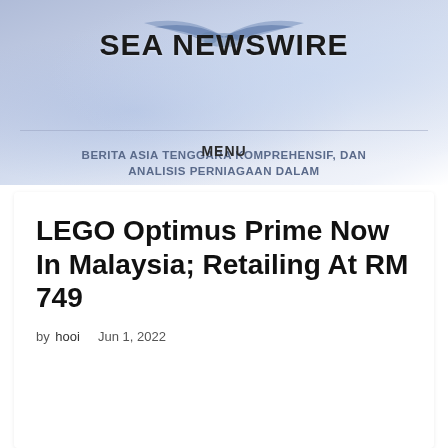SEA NEWSWIRE
BERITA ASIA TENGGARA KOMPREHENSIF, DAN ANALISIS PERNIAGAAN DALAM
MENU
LEGO Optimus Prime Now In Malaysia; Retailing At RM 749
by hooi   Jun 1, 2022